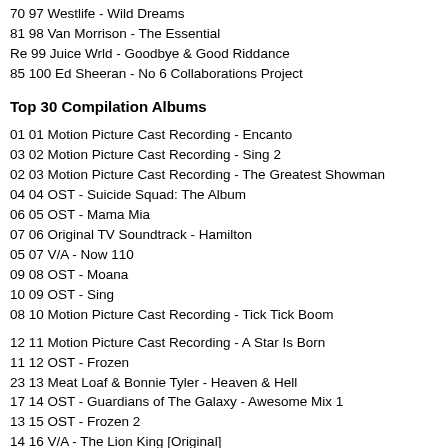70 97 Westlife - Wild Dreams
81 98 Van Morrison - The Essential
Re 99 Juice Wrld - Goodbye & Good Riddance
85 100 Ed Sheeran - No 6 Collaborations Project
Top 30 Compilation Albums
01 01 Motion Picture Cast Recording - Encanto
03 02 Motion Picture Cast Recording - Sing 2
02 03 Motion Picture Cast Recording - The Greatest Showman
04 04 OST - Suicide Squad: The Album
06 05 OST - Mama Mia
07 06 Original TV Soundtrack - Hamilton
05 07 V/A - Now 110
09 08 OST - Moana
10 09 OST - Sing
08 10 Motion Picture Cast Recording - Tick Tick Boom
12 11 Motion Picture Cast Recording - A Star Is Born
11 12 OST - Frozen
23 13 Meat Loaf & Bonnie Tyler - Heaven & Hell
17 14 OST - Guardians of The Galaxy - Awesome Mix 1
13 15 OST - Frozen 2
14 16 V/A - The Lion King [Original]
16 17 Motion Picture Cast Recording - Mama Mia - Here We Go Again
15 18 V/A - Phil Collins Plays Well With Others
18 19 V/A - Now That's What I Call Disney (2014)
20 20 OST - Grease
19 21 OST - Fifty Shades of Grey